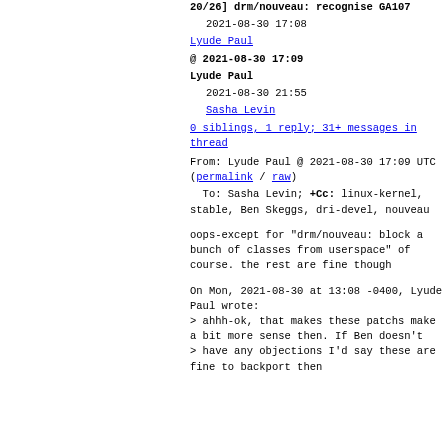20/26] drm/nouveau: recognise GA107
2021-08-30 17:08
Lyude Paul
@ 2021-08-30 17:09
Lyude Paul
2021-08-30 21:55
Sasha Levin
0 siblings, 1 reply; 31+ messages in thread
From: Lyude Paul @ 2021-08-30 17:09 UTC (permalink / raw)
To: Sasha Levin; +Cc: linux-kernel, stable, Ben Skeggs, dri-devel, nouveau
oops-except for "drm/nouveau: block a bunch of classes from userspace" of course. the rest are fine though
On Mon, 2021-08-30 at 13:08 -0400, Lyude Paul wrote:
> ahhh-ok, that makes these patchs make a bit more sense then. If Ben doesn't
> have any objections I'd say these are fine to backport then